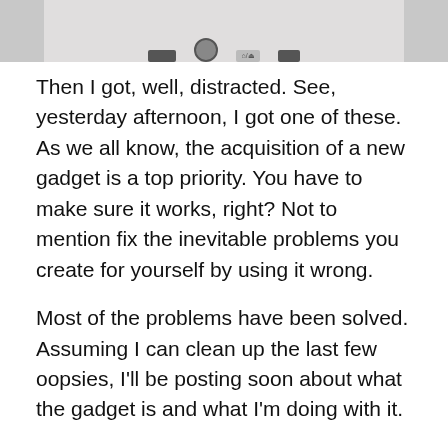[Figure (photo): Partial top image of a gadget/device, showing buttons on a white/grey device, cropped at top of page]
Then I got, well, distracted. See, yesterday afternoon, I got one of these. As we all know, the acquisition of a new gadget is a top priority. You have to make sure it works, right? Not to mention fix the inevitable problems you create for yourself by using it wrong.
Most of the problems have been solved. Assuming I can clean up the last few oopsies, I'll be posting soon about what the gadget is and what I'm doing with it.
Enough excuses. Let's move on to the actual post for the day.
According to Quartz, Amazon has found a new way to use technology to destroy civilization.